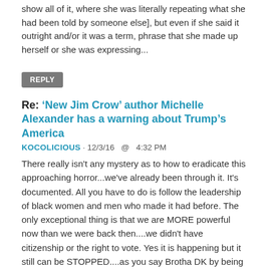show all of it, where she was literally repeating what she had been told by someone else], but even if she said it outright and/or it was a term, phrase that she made up herself or she was expressing...
REPLY
Re: ‘New Jim Crow’ author Michelle Alexander has a warning about Trump’s America
KOCOLICIOUS · 12/3/16  @  4:32 PM
There really isn't any mystery as to how to eradicate this approaching horror...we've already been through it. It's documented. All you have to do is follow the leadership of black women and men who made it had before. The only exceptional thing is that we are MORE powerful now than we were back then....we didn't have citizenship or the right to vote. Yes it is happening but it still can be STOPPED....as you say Brotha DK by being focused on constructive projective that instill real...
REPLY
Re: Texas A&M Student Tells Richard Spencer, ‘We Taught You to Read, Write and Bathe’
KOCOLICIOUS · 12/13/16  @  1:23 PM